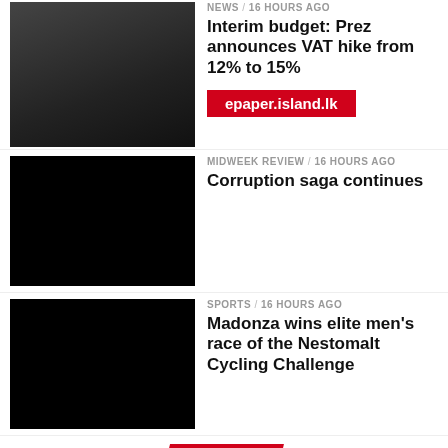[Figure (photo): Thumbnail photo of a person at a podium/parliament]
NEWS / 16 hours ago
Interim budget: Prez announces VAT hike from 12% to 15%
epaper.island.lk
[Figure (photo): Black thumbnail image for Midweek Review article]
MIDWEEK REVIEW / 16 hours ago
Corruption saga continues
[Figure (photo): Black thumbnail image for Sports article]
SPORTS / 16 hours ago
Madonza wins elite men's race of the Nestomalt Cycling Challenge
TRENDING
[Figure (photo): Black thumbnail image for Features article]
FEATURES / 7 days ago
GR could face obstacles in entering US
[Figure (photo): Black thumbnail image for Sports article at bottom]
SPORTS / 7 days ago